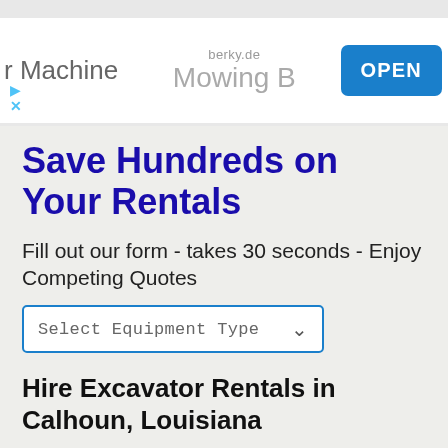[Figure (screenshot): Advertisement banner with text 'r Machine', 'berky.de', 'Mowing B' (truncated), and a blue 'OPEN' button. Small play and close icons at bottom left.]
Save Hundreds on Your Rentals
Fill out our form - takes 30 seconds - Enjoy Competing Quotes
Select Equipment Type
Hire Excavator Rentals in Calhoun, Louisiana
If you own a construction company, run a warehouse or have a goods transport business in